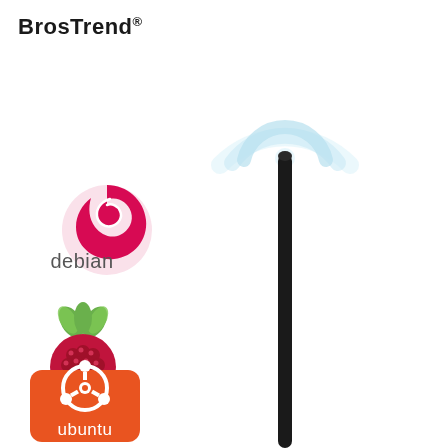BrosTrend®
[Figure (illustration): Product marketing image: a black vertical WiFi antenna with wireless signal waves radiating from the top (light blue concentric arcs), accompanied by three Linux OS logos on the left side: Debian (red swirl logo with 'debian' text), Raspberry Pi (red raspberry with green leaves logo), and Ubuntu (orange square with circular Ubuntu logo and 'ubuntu' text). White background.]